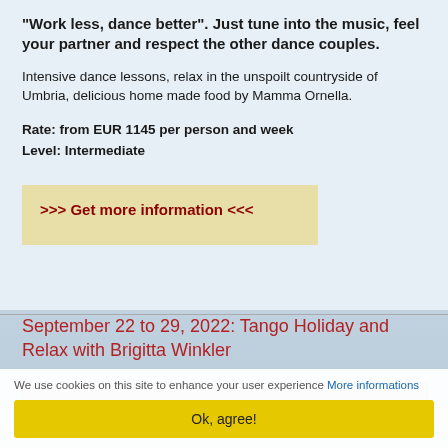"Work less, dance better". Just tune into the music, feel your partner and respect the other dance couples.
Intensive dance lessons, relax in the unspoilt countryside of Umbria, delicious home made food by Mamma Ornella.
Rate: from EUR 1145 per person and week
Level: Intermediate
>>> Get more information <<<
September 22 to 29, 2022: Tango Holiday and Relax with Brigitta Winkler
[Figure (photo): Partial photo placeholder visible at bottom of section]
We use cookies on this site to enhance your user experience More informations
Ok, agree!